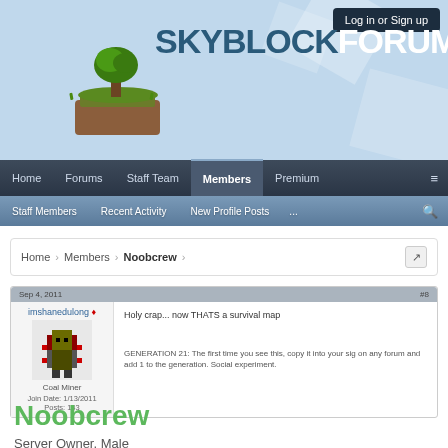[Figure (screenshot): SkyBlock Forums website header with logo, navigation bar, sub-navigation, breadcrumb, forum post, and profile section]
Log in or Sign up
SKYBLOCK FORUMS
Home | Forums | Staff Team | Members | Premium
Staff Members | Recent Activity | New Profile Posts | ...
Home > Members > Noobcrew
Sep 4, 2011
imshanedulong
Coal Miner
Join Date: 1/13/2011
Posts: 143
Holy crap... now THATS a survival map
GENERATION 21: The first time you see this, copy it into your sig on any forum and add 1 to the generation. Social experiment.
Noobcrew
Server Owner, Male